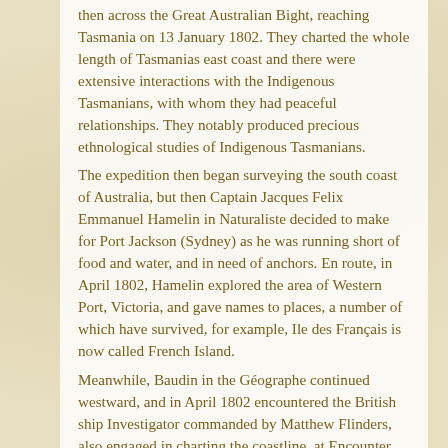then across the Great Australian Bight, reaching Tasmania on 13 January 1802. They charted the whole length of Tasmanias east coast and there were extensive interactions with the Indigenous Tasmanians, with whom they had peaceful relationships. They notably produced precious ethnological studies of Indigenous Tasmanians.
The expedition then began surveying the south coast of Australia, but then Captain Jacques Felix Emmanuel Hamelin in Naturaliste decided to make for Port Jackson (Sydney) as he was running short of food and water, and in need of anchors. En route, in April 1802, Hamelin explored the area of Western Port, Victoria, and gave names to places, a number of which have survived, for example, Ile des Français is now called French Island.
Meanwhile, Baudin in the Géographe continued westward, and in April 1802 encountered the British ship Investigator commanded by Matthew Flinders, also engaged in charting the coastline, at Encounter Bay in what is now South Australia. Flinders informed Baudin of his discovery of Kangaroo Island, St. Vincents and Spencers Gulfs. Baudin sailed on to the Nuyts Archipelago, the point reached by t Gulden Zeepaert in 1627 before heading for Port Jackson as